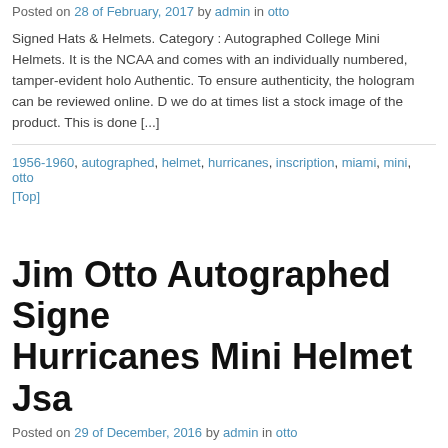Posted on 28 of February, 2017 by admin in otto
Signed Hats & Helmets. Category : Autographed College Mini Helmets. It is the NCAA and comes with an individually numbered, tamper-evident holo Authentic. To ensure authenticity, the hologram can be reviewed online. D we do at times list a stock image of the product. This is done [...]
1956-1960, autographed, helmet, hurricanes, inscription, miami, mini, otto
[Top]
Jim Otto Autographed Signe Hurricanes Mini Helmet Jsa
Posted on 29 of December, 2016 by admin in otto